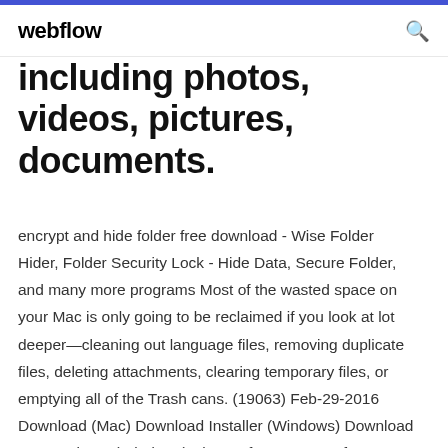webflow
including photos, videos, pictures, documents.
encrypt and hide folder free download - Wise Folder Hider, Folder Security Lock - Hide Data, Secure Folder, and many more programs Most of the wasted space on your Mac is only going to be reclaimed if you look at lot deeper—cleaning out language files, removing duplicate files, deleting attachments, clearing temporary files, or emptying all of the Trash cans. (19063) Feb-29-2016 Download (Mac) Download Installer (Windows) Download MSI Package (Windows) Plenty of reasons are for you to permanently delete files and folders on your Mac device.